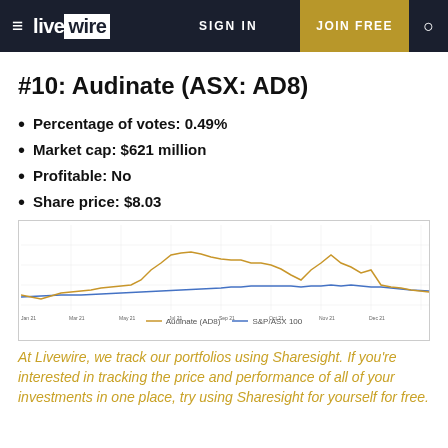live wire | SIGN IN | JOIN FREE
#10: Audinate (ASX: AD8)
Percentage of votes: 0.49%
Market cap: $621 million
Profitable: No
Share price: $8.03
[Figure (line-chart): Line chart showing Audinate (AD8) share price vs ASX/ASX 100 benchmark over approximately Jan 2021 to Dec 2021. Orange line represents Audinate share price which rises sharply mid-year then declines. Blue line represents ASX 100 benchmark which trends gradually upward.]
At Livewire, we track our portfolios using Sharesight. If you're interested in tracking the price and performance of all of your investments in one place, try using Sharesight for yourself for free.